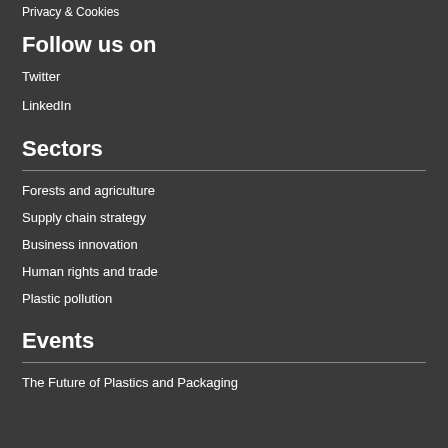Privacy & Cookies
Follow us on
Twitter
LinkedIn
Sectors
Forests and agriculture
Supply chain strategy
Business innovation
Human rights and trade
Plastic pollution
Events
The Future of Plastics and Packaging